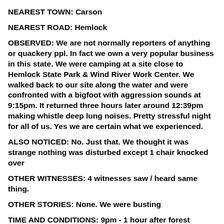NEAREST TOWN: Carson
NEAREST ROAD: Hemlock
OBSERVED: We are not normally reporters of anything or quackery ppl. In fact we own a very popular business in this state. We were camping at a site close to Hemlock State Park & Wind River Work Center. We walked back to our site along the water and were confronted with a bigfoot with aggression sounds at 9:15pm. It returned three hours later around 12:39pm making whistle deep lung noises. Pretty stressful night for all of us. Yes we are certain what we experienced.
ALSO NOTICED: No. Just that. We thought it was strange nothing was disturbed except 1 chair knocked over
OTHER WITNESSES: 4 witnesses saw / heard same thing.
OTHER STORIES: None. We were busting
TIME AND CONDITIONS: 9pm - 1 hour after forest darkness. Earlier sunny hot day near water line at our